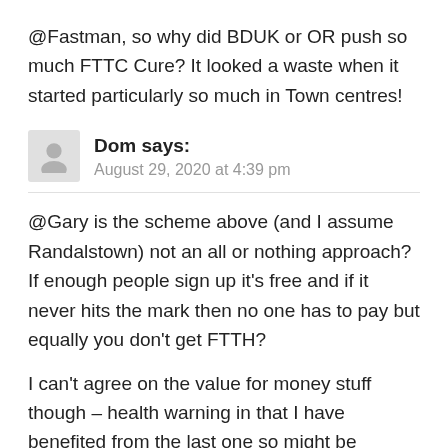@Fastman, so why did BDUK or OR push so much FTTC Cure? It looked a waste when it started particularly so much in Town centres!
Dom says: August 29, 2020 at 4:39 pm
@Gary is the scheme above (and I assume Randalstown) not an all or nothing approach? If enough people sign up it's free and if it never hits the mark then no one has to pay but equally you don't get FTTH?
I can't agree on the value for money stuff though – health warning in that I have benefited from the last one so might be biased. If the government spends £100 and can fix 5 people